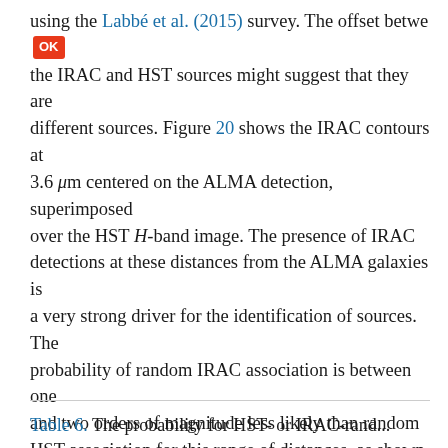using the Labbé et al. (2015) survey. The offset between the IRAC and HST sources might suggest that they are different sources. Figure 20 shows the IRAC contours at 3.6 μm centered on the ALMA detection, superimposed over the HST H-band image. The presence of IRAC detections at these distances from the ALMA galaxies is a very strong driver for the identification of sources. The probability of random IRAC association is between one and two orders of magnitude less likely than random HST association for this range of distances, as shown in Fig. 7 and Table 6. The selection of ALMA candidates from galaxies detected in IRAC channels 1 and 2 but missed by HST-WFC3 at 1.6 μm has already been experimented successfully by Wang et al. (in prep.), and seems to be a good indicator to detect HST-dark ALMA galaxies.
Table 6. The probability for HST- or IRAC-rand...